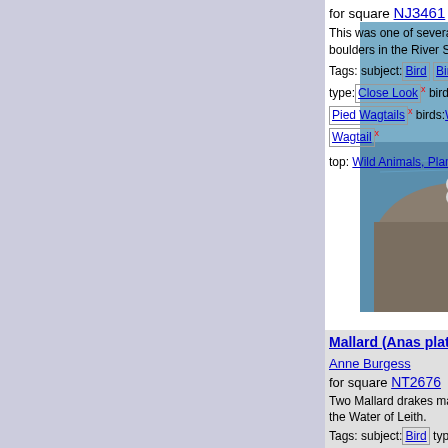[Figure (photo): Bird (Pied Wagtail) perched on a boulder in the River Spey]
for square NJ3461
This was one of several birds p... boulders in the River Spey.
Tags: subject: Bird  Bird  b
type: Close Look x  bird: Pie
Pied Wagtails x  birds: Wag
Wagtail x
top: Wild Animals, Plants an
Mallard (Anas platyrhym...
Anne Burgess
for square NT2676
Two Mallard drakes making rap... the Water of Leith.
Tags: subject: Bird  type: Cl
bird: Duck x  subject: Duck x
bird: Mallard x  Mallard x  d
birds: Mallard x  Mallard Dra
Mallard Duck x  bird: Mallar
Mallard Ducks x  ducks: Ma
Mallards x  birds: Mallards
[Figure (photo): Two Mallard drakes in water at the Water of Leith]